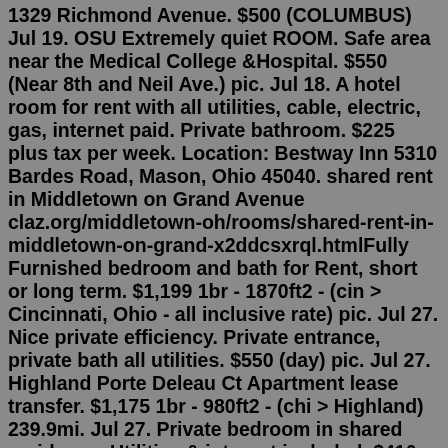1329 Richmond Avenue. $500 (COLUMBUS) Jul 19. OSU Extremely quiet ROOM. Safe area near the Medical College &Hospital. $550 (Near 8th and Neil Ave.) pic. Jul 18. A hotel room for rent with all utilities, cable, electric, gas, internet paid. Private bathroom. $225 plus tax per week. Location: Bestway Inn 5310 Bardes Road, Mason, Ohio 45040. shared rent in Middletown on Grand Avenue claz.org/middletown-oh/rooms/shared-rent-in-middletown-on-grand-x2ddcsxrql.htmlFully Furnished bedroom and bath for Rent, short or long term. $1,199 1br - 1870ft2 - (cin > Cincinnati, Ohio - all inclusive rate) pic. Jul 27. Nice private efficiency. Private entrance, private bath all utilities. $550 (day) pic. Jul 27. Highland Porte Deleau Ct Apartment lease transfer. $1,175 1br - 980ft2 - (chi > Highland) 239.9mi. Jul 27. Private bedroom in shared residence. Utilities & internet included. $410 4br - (ind > 15 blocks from Downtown in Willard Park neighborhood) pic 102.3mi. Jul 27. Rodeway Inn, Miamisburg: See 52 traveller reviews, 42 user photos